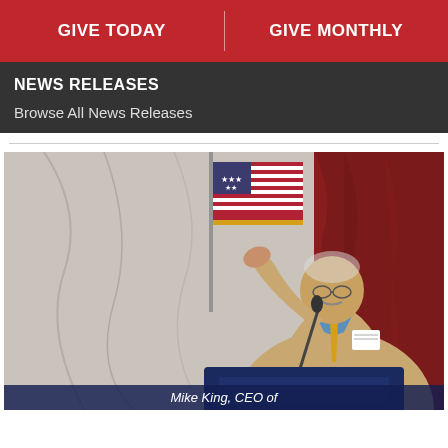GIVE TODAY | GIVE MONTHLY
NEWS RELEASES
Browse All News Releases
[Figure (photo): A man in a tan blazer and blue shirt with a name tag speaks at a podium with a microphone, gesturing with his right hand. An American flag stands behind him against a marble wall. A red curtain is visible on the right. Text on the podium reads: Mike King, CEO of...]
Mike King, CEO of